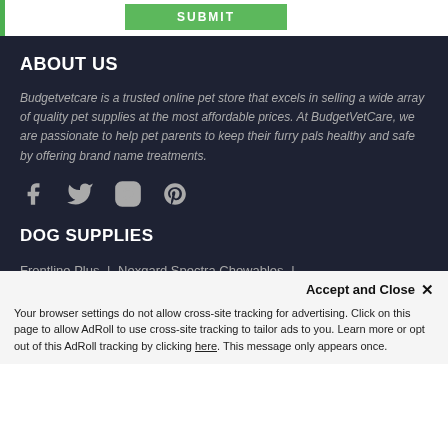[Figure (screenshot): Top white bar with green SUBMIT button and green left border accent]
ABOUT US
Budgetvetcare is a trusted online pet store that excels in selling a wide array of quality pet supplies at the most affordable prices. At BudgetVetCare, we are passionate to help pet parents to keep their furry pals healthy and safe by offering brand name treatments.
[Figure (infographic): Social media icons: Facebook, Twitter, Instagram, Pinterest]
DOG SUPPLIES
Frontline Plus | Nexgard Spectra Chewables | Nexgard Chewables | Heartgard Plus Chewables | Nuheart | Simparica Chewables
Accept and Close ×
Your browser settings do not allow cross-site tracking for advertising. Click on this page to allow AdRoll to use cross-site tracking to tailor ads to you. Learn more or opt out of this AdRoll tracking by clicking here. This message only appears once.